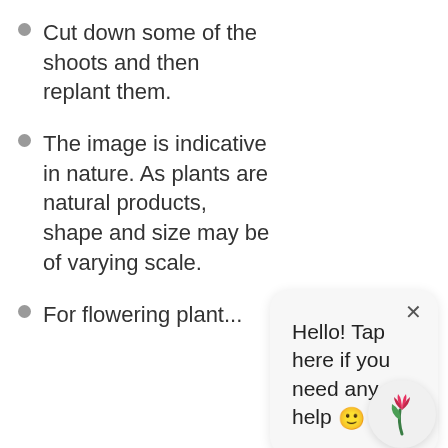Cut down some of the shoots and then replant them.
The image is indicative in nature. As plants are natural products, shape and size may be of varying scale.
For flowering plant...
[Figure (screenshot): Chat popup widget showing text 'Hello! Tap here if you need any help 🙂' with a close X button and a plant/tulip bot icon circle below.]